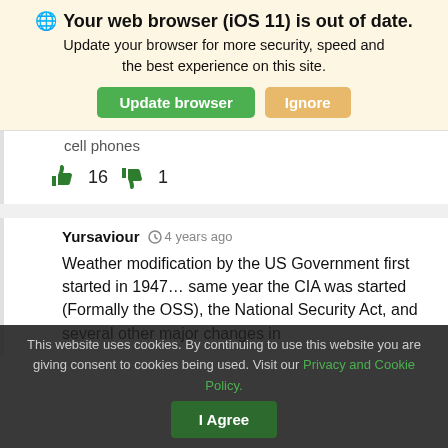🌐 Your web browser (iOS 11) is out of date. Update your browser for more security, speed and the best experience on this site.
Update browser | Ignore
cell phones
👍 16 👎 1
Yursaviour  ⏱ 4 years ago
Weather modification by the US Government first started in 1947… same year the CIA was started (Formally the OSS), the National Security Act, and several other major changes in
This website uses cookies. By continuing to use this website you are giving consent to cookies being used. Visit our Privacy and Cookie Policy.
I Agree